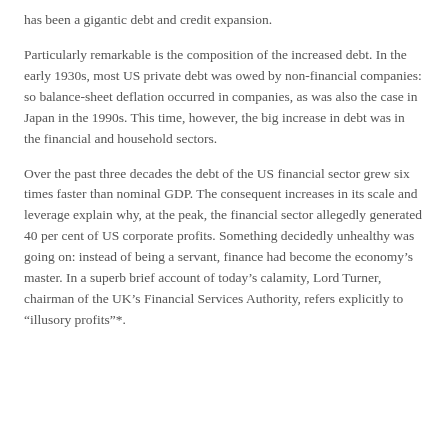has been a gigantic debt and credit expansion.
Particularly remarkable is the composition of the increased debt. In the early 1930s, most US private debt was owed by non-financial companies: so balance-sheet deflation occurred in companies, as was also the case in Japan in the 1990s. This time, however, the big increase in debt was in the financial and household sectors.
Over the past three decades the debt of the US financial sector grew six times faster than nominal GDP. The consequent increases in its scale and leverage explain why, at the peak, the financial sector allegedly generated 40 per cent of US corporate profits. Something decidedly unhealthy was going on: instead of being a servant, finance had become the economy's master. In a superb brief account of today's calamity, Lord Turner, chairman of the UK's Financial Services Authority, refers explicitly to “illusory profits”*.